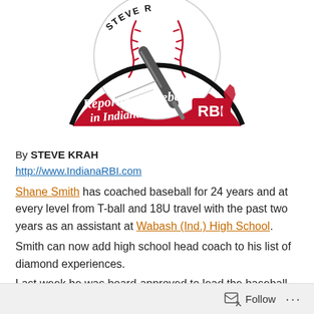[Figure (logo): Reporting Baseball in Indiana RBI logo featuring a baseball, red arch, baseball bat, and Indiana state silhouette in red]
By STEVE KRAH
http://www.IndianaRBI.com
Shane Smith has coached baseball for 24 years and at every level from T-ball and 18U travel with the past two years as an assistant at Wabash (Ind.) High School.
Smith can now add high school head coach to his list of diamond experiences.
Last week he was board-approved to lead the baseball
Follow ...